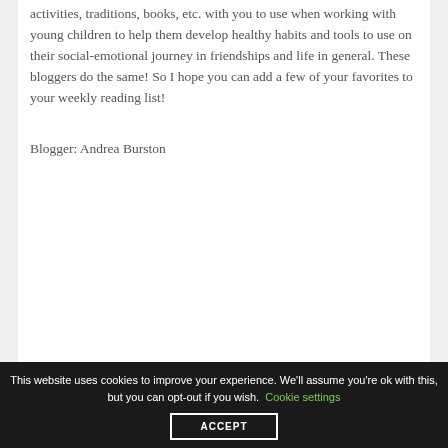activities, traditions, books, etc. with you to use when working with young children to help them develop healthy habits and tools to use on their social-emotional journey in friendships and life in general. These bloggers do the same! So I hope you can add a few of your favorites to your weekly reading list!
Blogger: Andrea Burston
This website uses cookies to improve your experience. We'll assume you're ok with this, but you can opt-out if you wish. Cookie settings ACCEPT